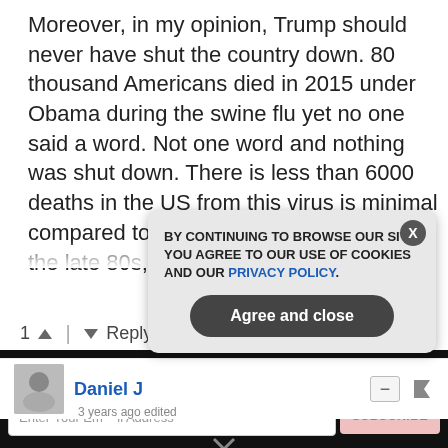Moreover, in my opinion, Trump should never have shut the country down. 80 thousand Americans died in 2015 under Obama during the swine flu yet no one said a word. Not one word and nothing was shut down. There is less than 6000 deaths in the US from this virus is minimal compared to any previous epidemics. In the late 80s, AIDS killed million in America...
see more
1 ^ | v Reply
Daniel J
BY CONTINUING TO BROWSE OUR SITE YOU AGREE TO OUR USE OF COOKIES AND OUR PRIVACY POLICY.
Agree and close
GET THE WORLD'S BEST NATURAL HEALTH NEWSLETTER DELIVERED STRAIGHT TO YOUR INBOX
SUBSCRIBE